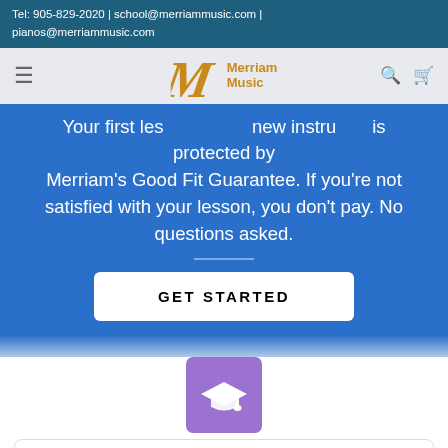Tel: 905-829-2020 | school@merriammusic.com | pianos@merriammusic.com
[Figure (logo): Merriam Music logo with stylized M and text Merriam Music]
Your first lesson with a new instructor is protected by Merriam's Good Fit Guarantee. If you're not satisfied with your lesson, you don't pay. No questions asked.
GET STARTED
[Figure (illustration): Purple square with white graduation cap icon]
Expert Instructors